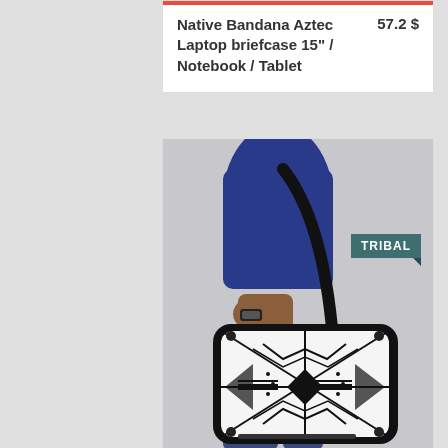Native Bandana Aztec Laptop briefcase 15" / Notebook / Tablet    57.2 $
[Figure (photo): Person carrying a black laptop briefcase with a black and white Native/Aztec tribal pattern print, worn over the shoulder. A 'TRIBAL' badge label is shown in teal in the upper right of the image.]